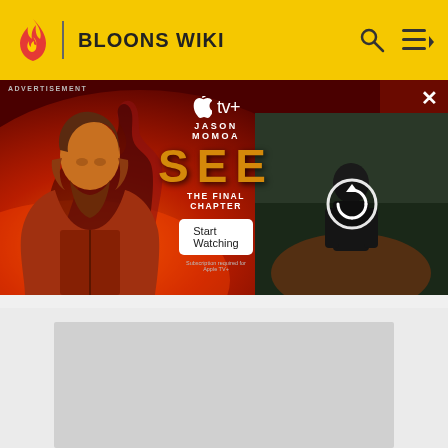BLOONS WIKI
[Figure (screenshot): Advertisement banner for Apple TV+ show 'SEE - The Final Chapter' featuring Jason Momoa. Left side shows fiery background with actor, center has Apple TV+ logo, 'JASON MOMOA', 'SEE', 'THE FINAL CHAPTER' text, 'Start Watching' button, right side shows loading/refresh icon over dark scene.]
[Figure (other): Gray placeholder content area below the advertisement banner]